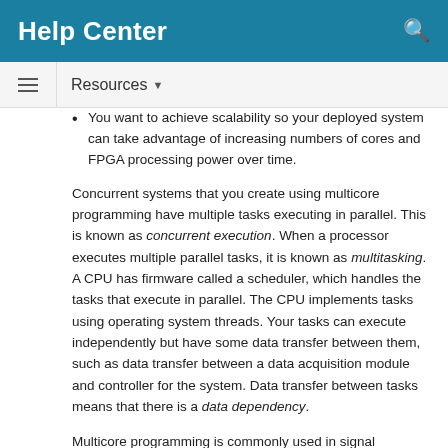Help Center
Resources
You want to achieve scalability so your deployed system can take advantage of increasing numbers of cores and FPGA processing power over time.
Concurrent systems that you create using multicore programming have multiple tasks executing in parallel. This is known as concurrent execution. When a processor executes multiple parallel tasks, it is known as multitasking. A CPU has firmware called a scheduler, which handles the tasks that execute in parallel. The CPU implements tasks using operating system threads. Your tasks can execute independently but have some data transfer between them, such as data transfer between a data acquisition module and controller for the system. Data transfer between tasks means that there is a data dependency.
Multicore programming is commonly used in signal processing and plant-control systems. In signal processing, you can have a concurrent system that processes multiple frames in parallel. In plant-control systems, the controller and the plant can execute as two separate tasks. Using multicore programming helps to split your system into multiple parallel tasks, which run